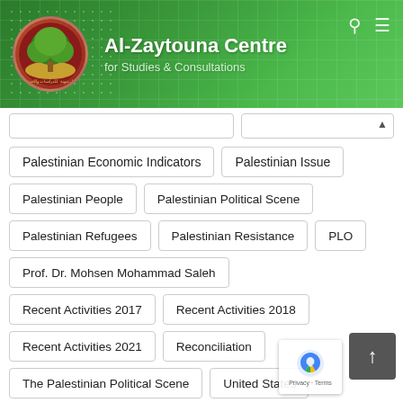[Figure (logo): Al-Zaytouna Centre for Studies & Consultations website header with logo, search icon, and menu icon on green background]
Palestinian Economic Indicators
Palestinian Issue
Palestinian People
Palestinian Political Scene
Palestinian Refugees
Palestinian Resistance
PLO
Prof. Dr. Mohsen Mohammad Saleh
Recent Activities 2017
Recent Activities 2018
Recent Activities 2021
Reconciliation
The Palestinian Political Scene
United States
Walid 'Abd al-Hay